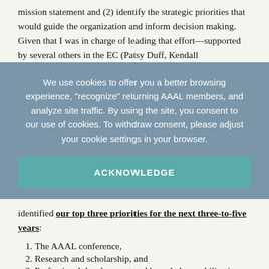mission statement and (2) identify the strategic priorities that would guide the organization and inform decision making. Given that I was in charge of leading that effort—supported by several others in the EC (Patsy Duff, Kendall
We use cookies to offer you a better browsing experience, "recognize" returning AAAL members, and analyze site traffic. By using the site, you consent to our use of cookies. To withdraw consent, please adjust your cookie settings in your browser.
ACKNOWLEDGE
identified our top three priorities for the next three-to-five years:
The AAAL conference,
Research and scholarship, and
Professional development and knowledge mobilization.
These priorities were discussed at the March meetings of the EC preceding the conference in Pittsburgh, and the EC